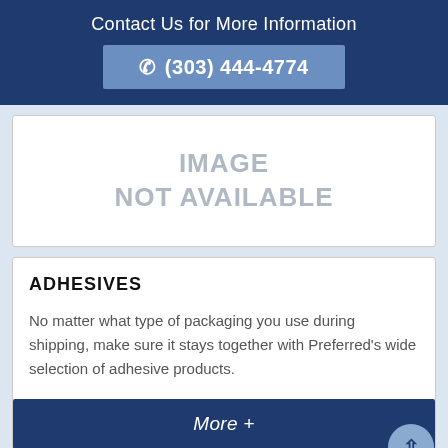Contact Us for More Information
(303) 444-4774
[Figure (other): Image not available placeholder box with gray text reading IMAGE NOT AVAILABLE]
ADHESIVES
No matter what type of packaging you use during shipping, make sure it stays together with Preferred's wide selection of adhesive products.
More +